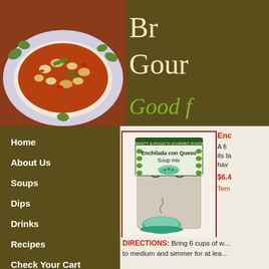[Figure (photo): Bowl of bean and pepper soup/stew with brightly colored beans, green peppers, and red sauce in a decorative plate with ivy pattern]
Br... Gour...
Good f...
Home
About Us
Soups
Dips
Drinks
Recipes
Check Your Cart
Upcoming Shows
[Figure (photo): Enchilada con Queso Soup mix product packaging - a bag of soup mix with a decorative card showing the product name]
Enc...
A fi... its ta... hav...
$6.4...
Tem...
DIRECTIONS: Bring 6 cups of w... to medium and simmer for at lea...